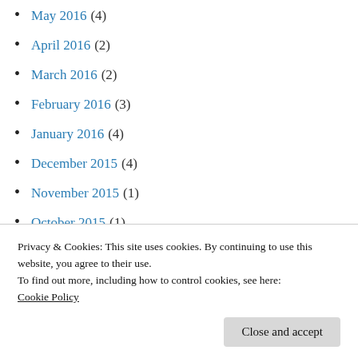May 2016 (4)
April 2016 (2)
March 2016 (2)
February 2016 (3)
January 2016 (4)
December 2015 (4)
November 2015 (1)
October 2015 (1)
September 2015 (3)
August 2015 (3)
July 2015 (4)
Privacy & Cookies: This site uses cookies. By continuing to use this website, you agree to their use. To find out more, including how to control cookies, see here: Cookie Policy
February 2015 (3)